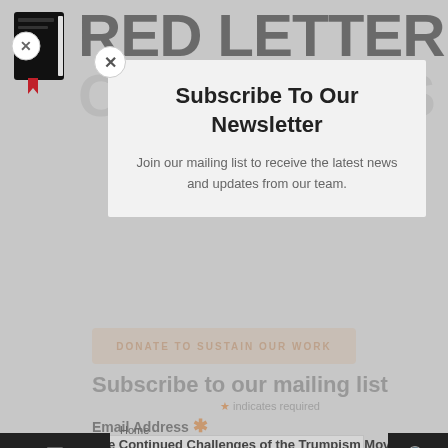[Figure (logo): Red Letter Christians logo: black notebook/book icon with red bookmark ribbon, top-left of page]
RED LETTER
CHRISTIANS
[Figure (screenshot): Modal popup overlay with newsletter subscription form on a website page]
Subscribe To Our Newsletter
Join our mailing list to receive the latest news and updates from our team.
DONATE TO SUSTAIN OUR WORK
Subscribe to our mailing list
* indicates required
Email Address *
Home
The Continued Challenges of the Trumpism Movement
Terry Wildman